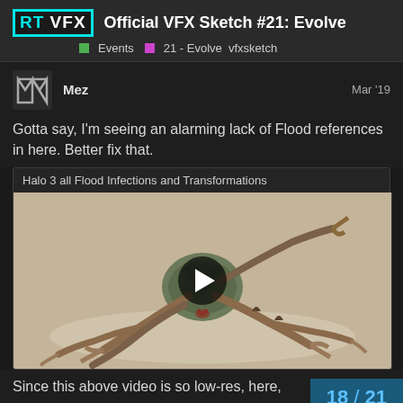Official VFX Sketch #21: Evolve — Events | 21 - Evolve | vfxsketch
Mez — Mar '19
Gotta say, I'm seeing an alarming lack of Flood references in here. Better fix that.
Halo 3 all Flood Infections and Transformations
[Figure (screenshot): Video thumbnail showing a Halo 3 Flood creature (Infection Form) model with multiple crab-like legs and claws on a light background, with a play button overlay.]
Since this above video is so low-res, here,
18 / 21